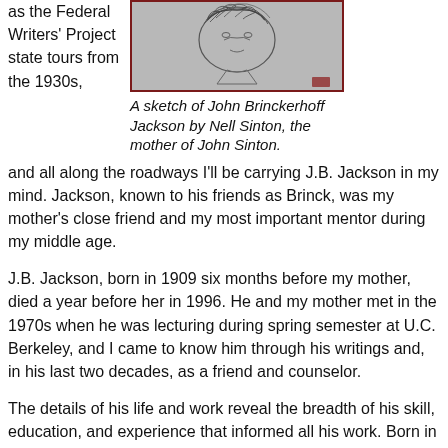as the Federal Writers' Project state tours from the 1930s,
[Figure (illustration): A pencil sketch portrait of John Brinckerhoff Jackson]
A sketch of John Brinckerhoff Jackson by Nell Sinton, the mother of John Sinton.
and all along the roadways I'll be carrying J.B. Jackson in my mind. Jackson, known to his friends as Brinck, was my mother's close friend and my most important mentor during my middle age.
J.B. Jackson, born in 1909 six months before my mother, died a year before her in 1996. He and my mother met in the 1970s when he was lecturing during spring semester at U.C. Berkeley, and I came to know him through his writings and, in his last two decades, as a friend and counselor.
The details of his life and work reveal the breadth of his skill, education, and experience that informed all his work. Born in France of well-to-do American parents, early education in France and Switzerland, prep school at Deerfield, graduated